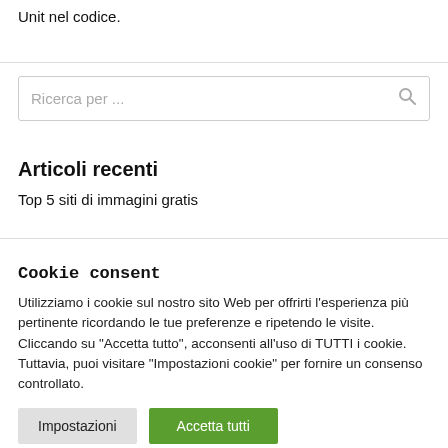Unit nel codice.
Ricerca per ...
Articoli recenti
Top 5 siti di immagini gratis
Cookie consent
Utilizziamo i cookie sul nostro sito Web per offrirti l'esperienza più pertinente ricordando le tue preferenze e ripetendo le visite. Cliccando su "Accetta tutto", acconsenti all'uso di TUTTI i cookie. Tuttavia, puoi visitare "Impostazioni cookie" per fornire un consenso controllato.
Impostazioni | Accetta tutti